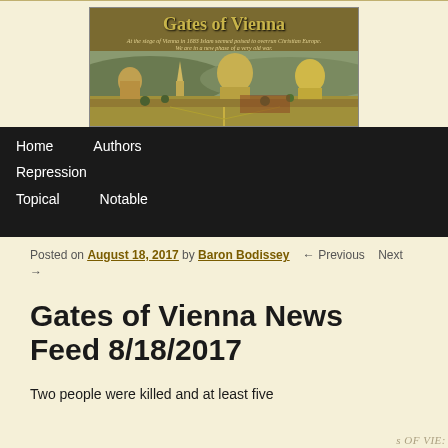[Figure (illustration): Gates of Vienna blog banner with historical cityscape painting of Vienna, golden title text 'Gates of Vienna' and italic subtitle text about Islam poised to overrun Christian Europe]
Home   Authors   Repression   Topical   Notable
Posted on August 18, 2017 by Baron Bodissey   ← Previous   Next →
Gates of Vienna News Feed 8/18/2017
Two people were killed and at least five